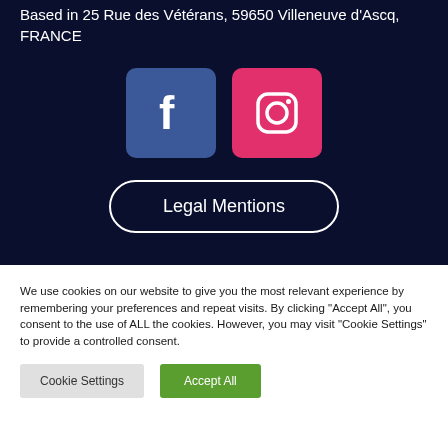Based in 25 Rue des Vétérans, 59650 Villeneuve d'Ascq, FRANCE
[Figure (logo): Facebook and Instagram social media icons side by side]
Legal Mentions
We use cookies on our website to give you the most relevant experience by remembering your preferences and repeat visits. By clicking "Accept All", you consent to the use of ALL the cookies. However, you may visit "Cookie Settings" to provide a controlled consent.
Cookie Settings
Accept All